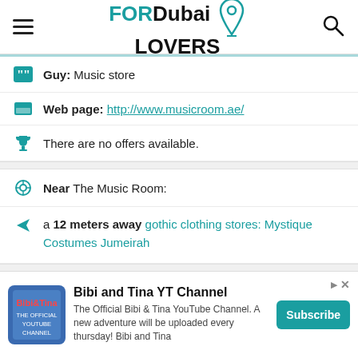FORDubai LOVERS - navigation header with hamburger menu and search icon
Guy: Music store
Web page: http://www.musicroom.ae/
There are no offers available.
Near The Music Room:
a 12 meters away gothic clothing stores: Mystique Costumes Jumeirah
Are you the owner of the business? PROMOTE
Bibi and Tina YT Channel - The Official Bibi & Tina YouTube Channel. A new adventure will be uploaded every thursday! Bibi and Tina - Subscribe